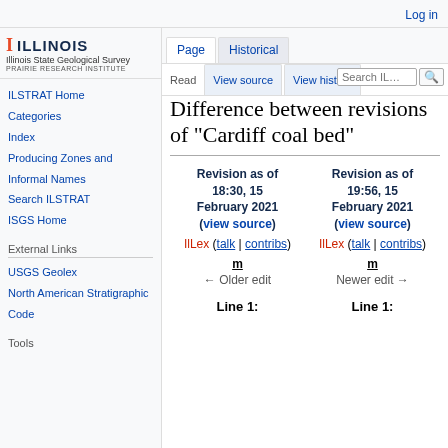Log in
[Figure (logo): University of Illinois / Illinois State Geological Survey / Prairie Research Institute logo]
Page | Historical | Read | View source | View history | Search ILS...
Difference between revisions of "Cardiff coal bed"
| Revision as of 18:30, 15 February 2021 (view source) | Revision as of 19:56, 15 February 2021 (view source) |
| --- | --- |
| IlLex (talk | contribs) | IlLex (talk | contribs) |
| m | m |
| ← Older edit | Newer edit → |
ILSTRAT Home
Categories
Index
Producing Zones and Informal Names
Search ILSTRAT
ISGS Home
External Links
USGS Geolex
North American Stratigraphic Code
Tools
Line 1:
Line 1: